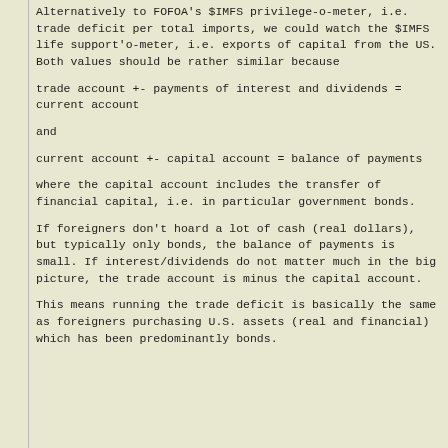Alternatively to FOFOA's $IMFS privilege-o-meter, i.e. trade deficit per total imports, we could watch the $IMFS life support'o-meter, i.e. exports of capital from the US. Both values should be rather similar because
and
where the capital account includes the transfer of financial capital, i.e. in particular government bonds.
If foreigners don't hoard a lot of cash (real dollars), but typically only bonds, the balance of payments is small. If interest/dividends do not matter much in the big picture, the trade account is minus the capital account.
This means running the trade deficit is basically the same as foreigners purchasing U.S. assets (real and financial) which has been predominantly bonds.